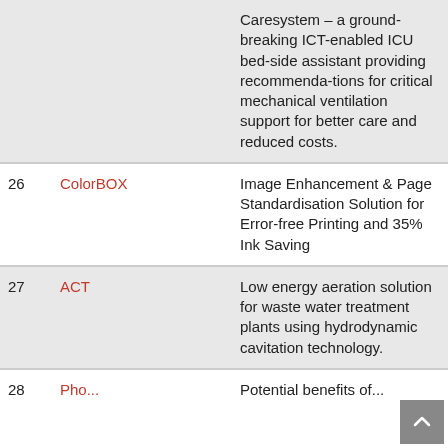| # | Project | Description |
| --- | --- | --- |
|  |  | Caresystem – a ground-breaking ICT-enabled ICU bed-side assistant providing recommendations for critical mechanical ventilation support for better care and reduced costs. |
| 26 | ColorBOX | Image Enhancement & Page Standardisation Solution for Error-free Printing and 35% Ink Saving |
| 27 | ACT | Low energy aeration solution for waste water treatment plants using hydrodynamic cavitation technology. |
| 28 | ... | Potential benefits of... |